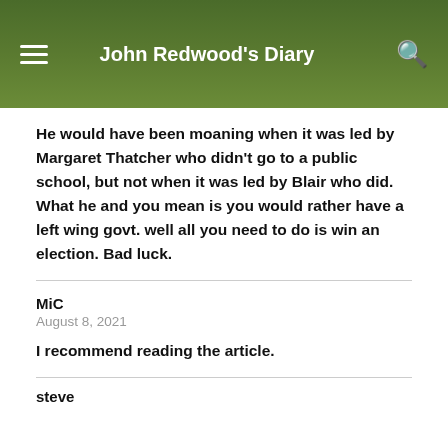John Redwood's Diary
He would have been moaning when it was led by Margaret Thatcher who didn't go to a public school, but not when it was led by Blair who did. What he and you mean is you would rather have a left wing govt. well all you need to do is win an election. Bad luck.
MiC
August 8, 2021
I recommend reading the article.
steve